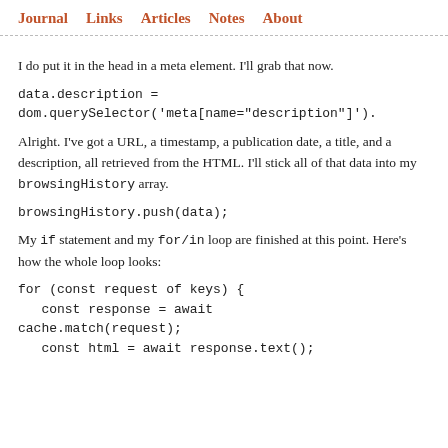Journal   Links   Articles   Notes   About
I do put it in the head in a meta element. I'll grab that now.
data.description =
dom.querySelector('meta[name="description"]').
Alright. I've got a URL, a timestamp, a publication date, a title, and a description, all retrieved from the HTML. I'll stick all of that data into my browsingHistory array.
browsingHistory.push(data);
My if statement and my for/in loop are finished at this point. Here's how the whole loop looks:
for (const request of keys) {
  const response = await
cache.match(request);
  const html = await response.text();